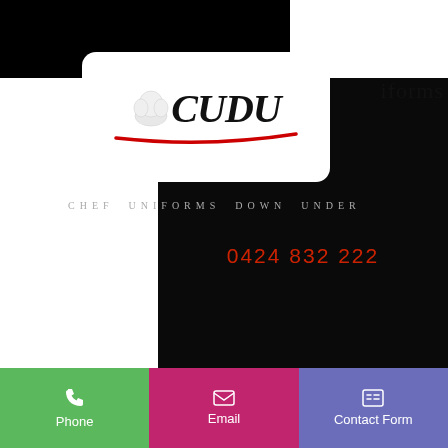[Figure (logo): CUDU - Chef Uniforms Down Under logo on white rounded card with chef hat icon and red arc swoosh, on black background]
iforms
CHEF UNIFORMS DOWN UNDER
0424 832 222
Phone
Email
Contact Form